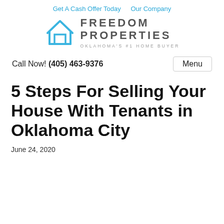Get A Cash Offer Today   Our Company
[Figure (logo): Freedom Properties logo with house icon and text FREEDOM PROPERTIES OKLAHOMA'S #1 HOME BUYER]
Call Now! (405) 463-9376    Menu
5 Steps For Selling Your House With Tenants in Oklahoma City
June 24, 2020